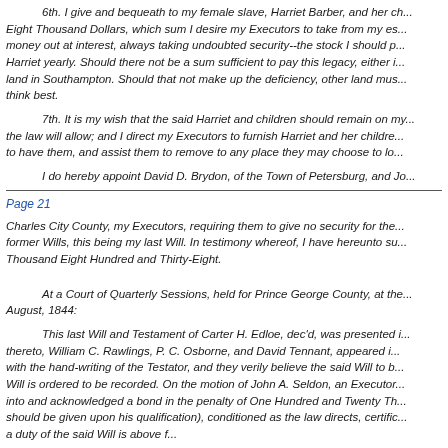6th. I give and bequeath to my female slave, Harriet Barber, and her ch... Eight Thousand Dollars, which sum I desire my Executors to take from my es... money out at interest, always taking undoubted security--the stock I should p... Harriet yearly. Should there not be a sum sufficient to pay this legacy, either i... land in Southampton. Should that not make up the deficiency, other land mus... think best.
7th. It is my wish that the said Harriet and children should remain on my... the law will allow; and I direct my Executors to furnish Harriet and her childre... to have them, and assist them to remove to any place they may choose to lo...
I do hereby appoint David D. Brydon, of the Town of Petersburg, and Jo...
Page 21
Charles City County, my Executors, requiring them to give no security for the... former Wills, this being my last Will. In testimony whereof, I have hereunto su... Thousand Eight Hundred and Thirty-Eight.
At a Court of Quarterly Sessions, held for Prince George County, at the... August, 1844:
This last Will and Testament of Carter H. Edloe, dec'd, was presented i... thereto, William C. Rawlings, P. C. Osborne, and David Tennant, appeared i... with the hand-writing of the Testator, and they verily believe the said Will to b... Will is ordered to be recorded. On the motion of John A. Seldon, an Executor... into and acknowledged a bond in the penalty of One Hundred and Twenty Th... should be given upon his qualification), conditioned as the law directs, certific... a duty of the said Will is above f...